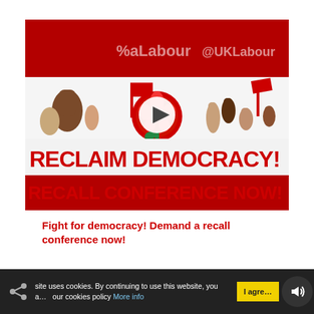[Figure (screenshot): Video thumbnail showing a Labour Party campaign image with people raising fists and flags, Labour rose logo in center, text reading 'RECLAIM DEMOCRACY! RECALL CONFERENCE NOW!' in red on white band, with dark red background above and below. A white circular play button is overlaid in the center. The top bar shows '@Labour' and '@UKLabour' social media handles.]
Fight for democracy! Demand a recall conference now!
site uses cookies. By continuing to use this website, you our cookies policy More info